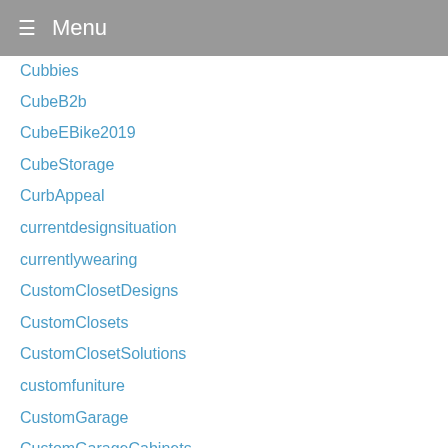Menu
Cubbies
CubeB2b
CubeEBike2019
CubeStorage
CurbAppeal
currentdesignsituation
currentlywearing
CustomClosetDesigns
CustomClosets
CustomClosetSolutions
customfuniture
CustomGarage
CustomGarageCabinets
custominterior
customroomdivider
cutlery
Cutters